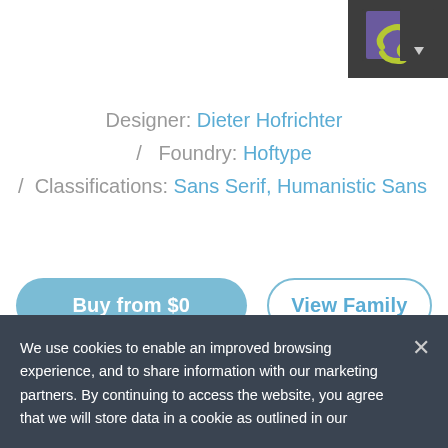[Figure (logo): Dark grey square logo with stylized 'S' letter in purple/green colors and a small white dropdown arrow]
Designer: Dieter Hofrichter / Foundry: Hoftype / Classifications: Sans Serif, Humanistic Sans
Buy from $0
View Family
T Select Font Format   ★ Add to Wish List
We use cookies to enable an improved browsing experience, and to share information with our marketing partners. By continuing to access the website, you agree that we will store data in a cookie as outlined in our